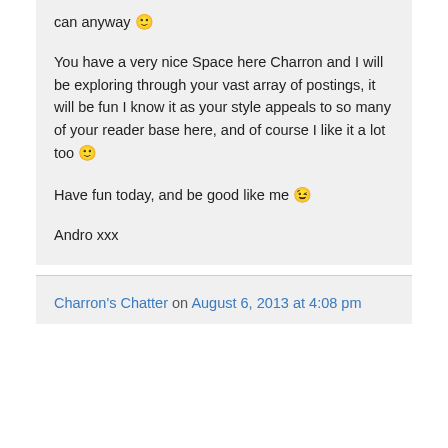can anyway 🙂

You have a very nice Space here Charron and I will be exploring through your vast array of postings, it will be fun I know it as your style appeals to so many of your reader base here, and of course I like it a lot too 🙂

Have fun today, and be good like me 😉

Andro xxx
Charron's Chatter on August 6, 2013 at 4:08 pm